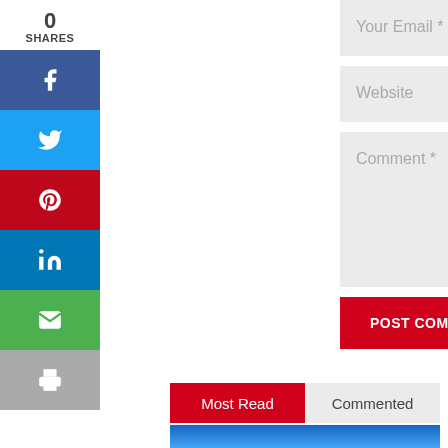0
SHARES
[Figure (infographic): Social sharing sidebar with Facebook, Twitter, Pinterest, LinkedIn, Email, and Print buttons]
[Figure (screenshot): Comment form with Your Email *, Website, and Comment * input fields, and a POST COMMENT button]
Most Read
Commented
[Figure (photo): Blue sky image partially visible at bottom]